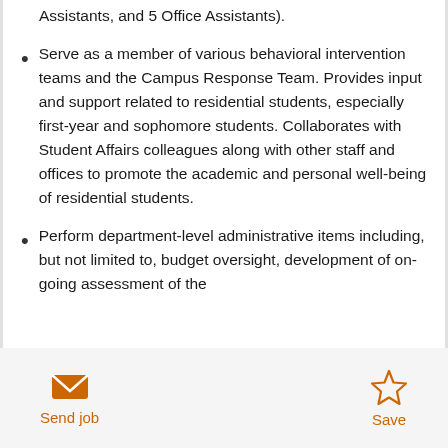Assistants, and 5 Office Assistants).
Serve as a member of various behavioral intervention teams and the Campus Response Team. Provides input and support related to residential students, especially first-year and sophomore students. Collaborates with Student Affairs colleagues along with other staff and offices to promote the academic and personal well-being of residential students.
Perform department-level administrative items including, but not limited to, budget oversight, development of on-going assessment of the
Send job
Save